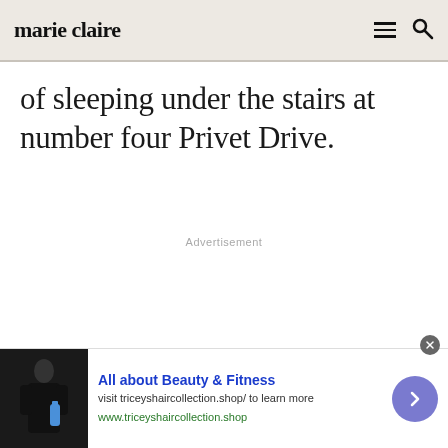marie claire
of sleeping under the stairs at number four Privet Drive.
Advertisement
[Figure (infographic): Bottom banner advertisement for 'All about Beauty & Fitness' from triceys haircollection.shop, with a photo of a person in black holding a blue bottle, and a purple arrow button on the right]